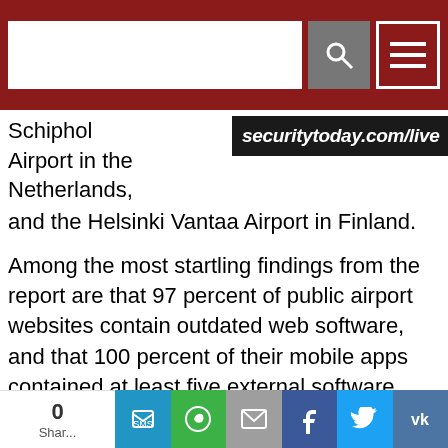securitytoday.com/live
Schiphol Airport in the Netherlands, and the Helsinki Vantaa Airport in Finland.
Among the most startling findings from the report are that 97 percent of public airport websites contain outdated web software, and that 100 percent of their mobile apps contained at least five external software frameworks and at least two known vulnerabilities. An average of fifteen security or privacy issues were detected on each app.
These issues “could be credibly exploited to attack an airport authority, obtain a foothold on vulnerable